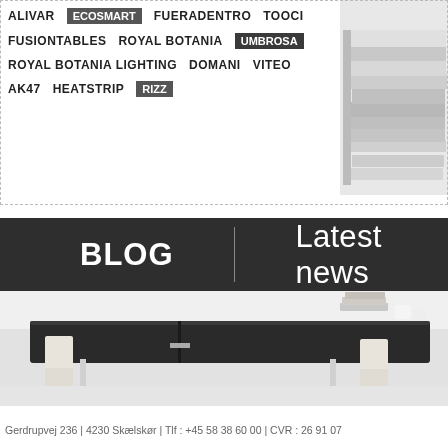ALIVAR  ECOSMART  FUERADENTRO  TOOCI  FUSIONTABLES  ROYAL BOTANIA  UMBROSA  ROYAL BOTANIA LIGHTING  DOMANI  VITEO  AK47  HEATSTRIP  RIZZ
[Figure (photo): Stack of magazines/catalogues on the right side]
BLOG  |  Latest news
[Figure (photo): Dark conference/dining table with white chairs in a modern interior setting]
Gerdrupvej 236 | 4230 Skælskør | Tlf : +45 58 38 60 00 | CVR : 26 91 07